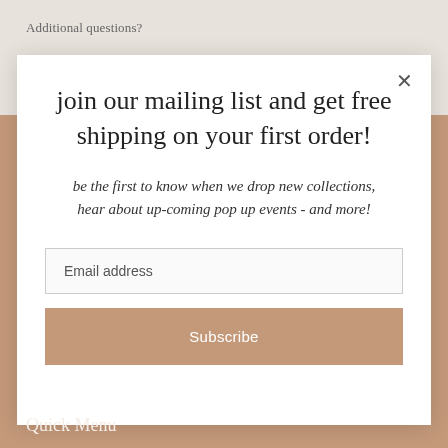Additional questions?
join our mailing list and get free shipping on your first order!
be the first to know when we drop new collections, hear about up-coming pop up events - and more!
Email address
Subscribe
Quick Menu